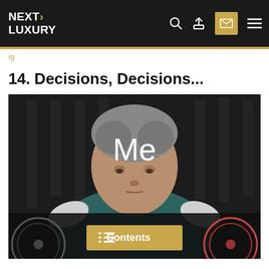NEXT LUXURY
ig
14. Decisions, Decisions...
[Figure (photo): Meme image of an elderly Asian man in a teal/dark tracksuit with white shoulder stripes, looking downward with the word 'Me' overlaid in white text. At the bottom of the image, a Contents button in gold and partial circular dial graphics are visible.]